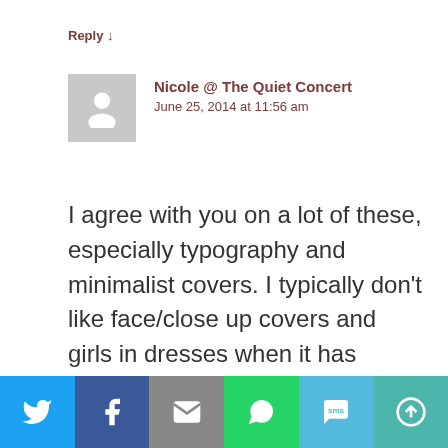Reply ↓
Nicole @ The Quiet Concert
June 25, 2014 at 11:56 am
I agree with you on a lot of these, especially typography and minimalist covers. I typically don't like face/close up covers and girls in dresses when it has nothing to do with the book. And the VA/Bloodlines covers are pretty
[Figure (infographic): Social share bar with Twitter, Facebook, Email, WhatsApp, SMS, and More buttons]